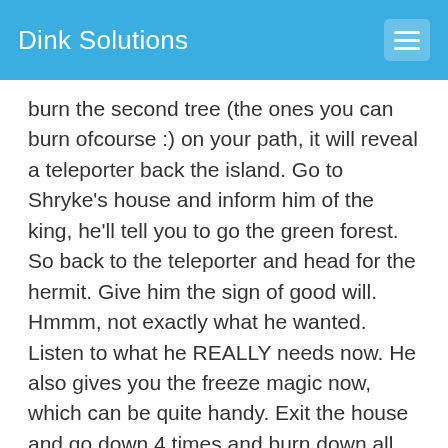Dink Solutions
burn the second tree (the ones you can burn ofcourse :) on your path, it will reveal a teleporter back the island. Go to Shryke's house and inform him of the king, he'll tell you to go the green forest. So back to the teleporter and head for the hermit. Give him the sign of good will. Hmmm, not exactly what he wanted. Listen to what he REALLY needs now. He also gives you the freeze magic now, which can be quite handy. Exit the house and go down 4 times and burn down all the trees, one will reveal a secret stairway leading to some potions. Time for a de-tour, go back to town on your left and the people from the cave are back (if you didn't give the sword to the dead soldier, they would all be dead, happy now? :). Visit all the houses and you'll get some potions and money. A man in a house to the north will sell you a clawsword (definitely get this one) and a throwing axe. Go down and left and enter the house. Talk